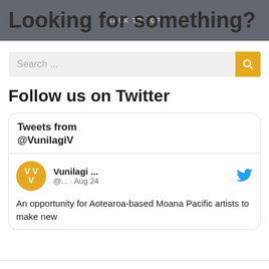BACK TO TOP
Looking for something?
Search ...
Follow us on Twitter
[Figure (screenshot): Twitter widget showing 'Tweets from @VunilagiV' with a tweet from Vunilagi ... (@... · Aug 24) saying 'An opportunity for Aotearoa-based Moana Pacific artists to make new']
An opportunity for Aotearoa-based Moana Pacific artists to make new